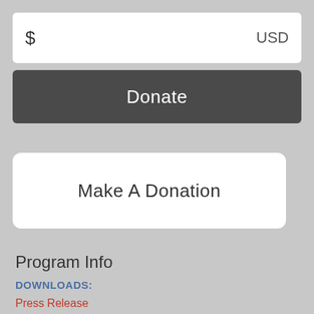$ USD
Donate
Make A Donation
Program Info
DOWNLOADS:
Press Release
NÄ✗ Koa Kai Programs